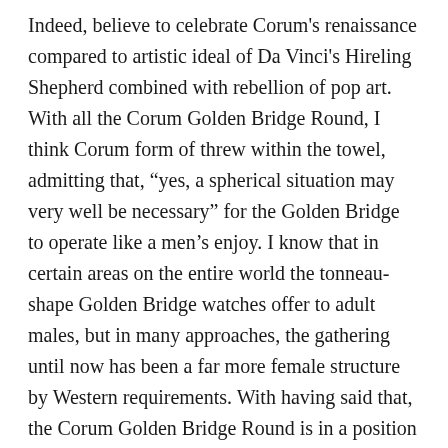Indeed, believe to celebrate Corum's renaissance compared to artistic ideal of Da Vinci's Hireling Shepherd combined with rebellion of pop art. With all the Corum Golden Bridge Round, I think Corum form of threw within the towel, admitting that, “yes, a spherical situation may very well be necessary” for the Golden Bridge to operate like a men’s enjoy. I know that in certain areas on the entire world the tonneau-shape Golden Bridge watches offer to adult males, but in many approaches, the gathering until now has been a far more female structure by Western requirements. With having said that, the Corum Golden Bridge Round is in a position to capture the refined delicate character of just what the Golden Bridge thought signifies, but imbues it by